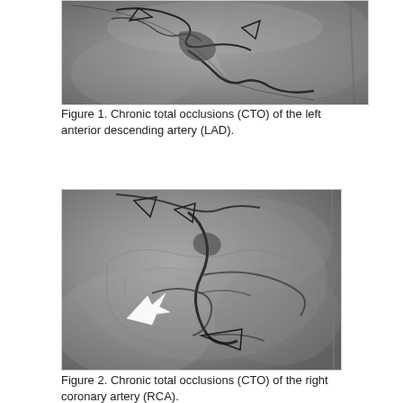[Figure (photo): Coronary angiogram showing chronic total occlusion (CTO) of the left anterior descending artery (LAD). Grayscale X-ray image with catheter equipment visible.]
Figure 1. Chronic total occlusions (CTO) of the left anterior descending artery (LAD).
[Figure (photo): Coronary angiogram showing chronic total occlusion (CTO) of the right coronary artery (RCA). Grayscale X-ray image with white arrow indicating the occlusion site and catheter equipment visible.]
Figure 2. Chronic total occlusions (CTO) of the right coronary artery (RCA).